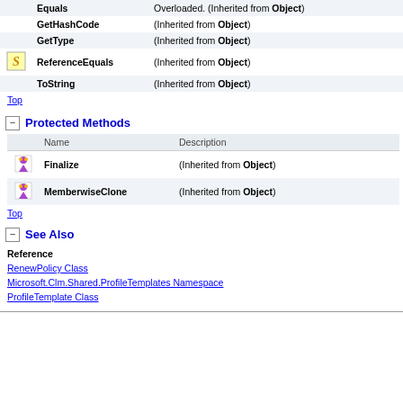|  | Name | Description |
| --- | --- | --- |
|  | Equals | Overloaded. (Inherited from Object) |
|  | GetHashCode | (Inherited from Object) |
|  | GetType | (Inherited from Object) |
| S | ReferenceEquals | (Inherited from Object) |
|  | ToString | (Inherited from Object) |
Top
Protected Methods
|  | Name | Description |
| --- | --- | --- |
| icon | Finalize | (Inherited from Object) |
| icon | MemberwiseClone | (Inherited from Object) |
Top
See Also
Reference
RenewPolicy Class
Microsoft.Clm.Shared.ProfileTemplates Namespace
ProfileTemplate Class